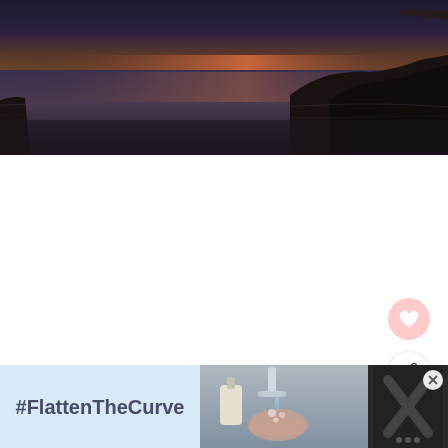[Figure (photo): Panoramic dusk/sunset photo of a rocky shoreline with calm water reflecting warm orange-pink light from the horizon. Dark silhouette of land/rocks on the right side.]
[Figure (other): Heart (like/favorite) button — pink semi-transparent circular button with a white heart icon]
[Figure (other): Share button — white circular button with a share/network icon]
[Figure (other): What's Next panel showing a circular thumbnail of a sunset water scene, label 'WHAT'S NEXT →' in pink, and text 'Goodbye Canadian...']
[Figure (other): Advertisement bar at bottom: dark background on left/right, light blue section with bold text '#FlattenTheCurve', center section showing hands being washed at a faucet, right section dark with X overlay. Close button visible.]